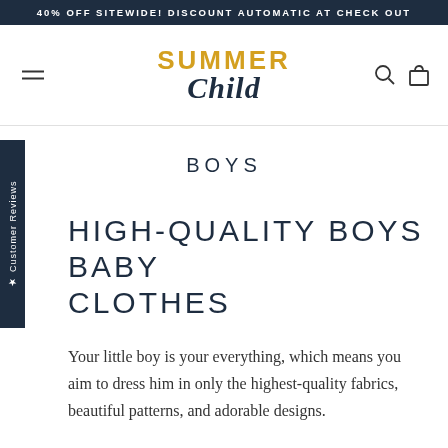40% OFF SITEWIDE! DISCOUNT AUTOMATIC AT CHECK OUT
[Figure (logo): Summer Child logo with 'SUMMER' in gold uppercase letters and 'Child' in dark navy italic script. Hamburger menu icon on left, search and cart icons on right.]
BOYS
HIGH-QUALITY BOYS BABY CLOTHES
Your little boy is your everything, which means you aim to dress him in only the highest-quality fabrics, beautiful patterns, and adorable designs.